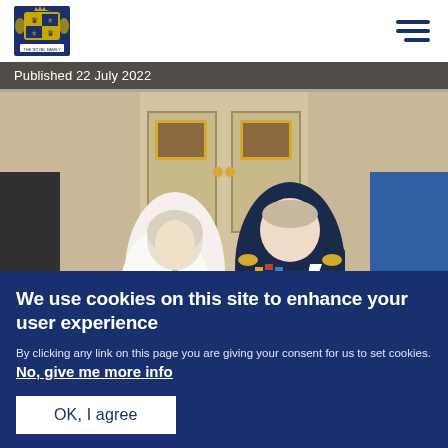Royal.uk header with royal coat of arms logo and hamburger menu
Published 22 July 2022
[Figure (photo): Photograph of Queen Elizabeth II and Prince Charles (King Charles III) seated together. The Queen wears a floral dress and the Prince is in military uniform with medals.]
We use cookies on this site to enhance your user experience
By clicking any link on this page you are giving your consent for us to set cookies. No, give me more info
OK, I agree